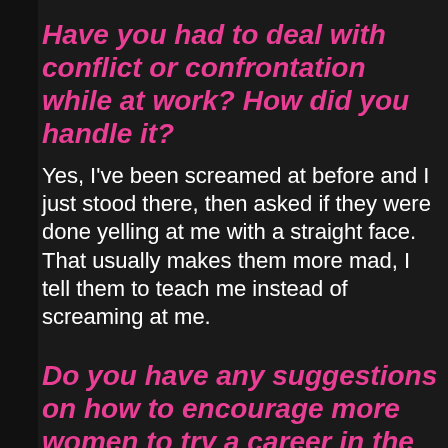Have you had to deal with conflict or confrontation while at work? How did you handle it?
Yes, I've been screamed at before and I just stood there, then asked if they were done yelling at me with a straight face. That usually makes them more mad, I tell them to teach me instead of screaming at me.
Do you have any suggestions on how to encourage more women to try a career in the trades?
Its definitely not for everyone. Its